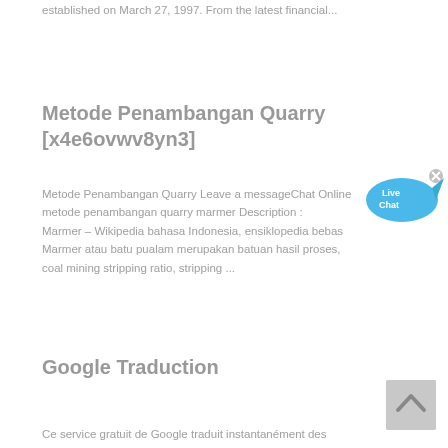established on March 27, 1997. From the latest financial...
Metode Penambangan Quarry [x4e6ovwv8yn3]
[Figure (illustration): Live Chat bubble icon in blue]
Metode Penambangan Quarry Leave a messageChat Online metode penambangan quarry marmer Description : Marmer – Wikipedia bahasa Indonesia, ensiklopedia bebas Marmer atau batu pualam merupakan batuan hasil proses, coal mining stripping ratio, stripping ...
Google Traduction
[Figure (illustration): Scroll to top button with up arrow]
Ce service gratuit de Google traduit instantanément des